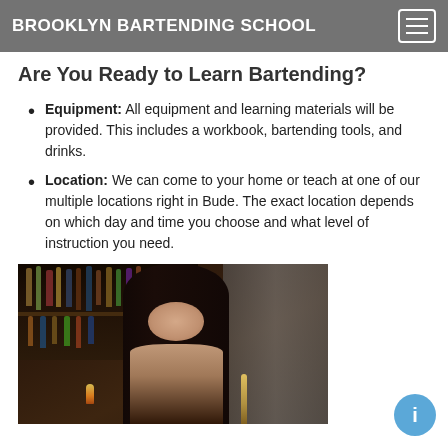BROOKLYN BARTENDING SCHOOL
Ages: 18 through 100
Ability: Beginner through Advanced
Are You Ready to Learn Bartending?
Equipment: All equipment and learning materials will be provided. This includes a workbook, bartending tools, and drinks.
Location: We can come to your home or teach at one of our multiple locations right in Bude. The exact location depends on which day and time you choose and what level of instruction you need.
[Figure (photo): A woman bartender standing behind a bar with bottles of liquor on shelves in the background]